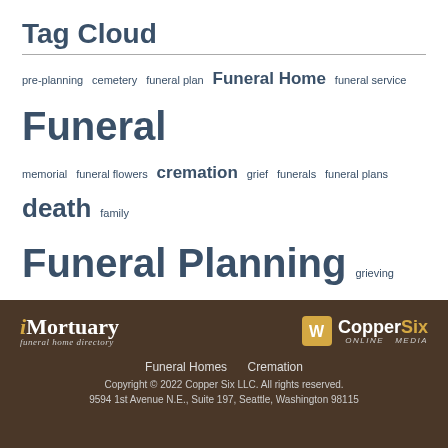Tag Cloud
pre-planning  cemetery  funeral plan  Funeral Home  funeral service  Funeral  memorial  funeral flowers  cremation  grief  funerals  funeral plans  death  family  Funeral Planning  grieving  burial  Etiquette  pre-arrangements  Estate Planning
[Figure (logo): iMortuary funeral home directory logo in white text on dark brown background]
[Figure (logo): CopperSix Online Media logo with gold W icon and white/gold text on dark brown background]
Funeral Homes   Cremation
Copyright © 2022 Copper Six LLC. All rights reserved.
9594 1st Avenue N.E., Suite 197, Seattle, Washington 98115